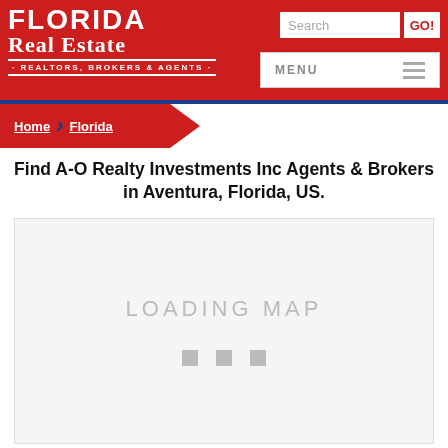[Figure (logo): Florida Real Estate - Realtors, Brokers & Agents logo on red background with search box and menu bar]
Home > Florida
Find A-O Realty Investments Inc Agents & Brokers in Aventura, Florida, US.
[Figure (map): Loading map placeholder with grey background showing 'LOADING MAP' text and three loading dots]